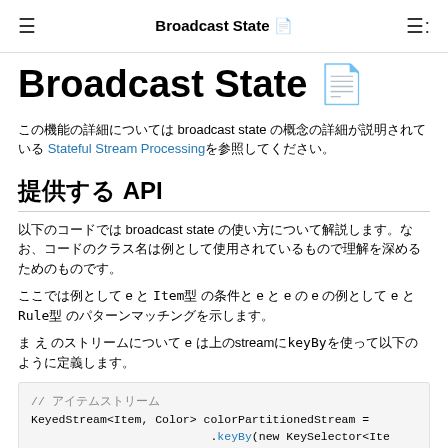Broadcast State 📄
Broadcast State 📄
この機能の詳細については broadcast state の概念の詳細が説明されている Stateful Stream Processing を参照してください。
提供する API
以下のコードでは broadcast state の使い方について解説します。なお、コードのクラス名は例として使用されているもので理解を深めるためのものです。
ここでは例として e と Item型 の条件と e と e の e の例として e と Rule型 のパターンマッチングを示します。
ま え のストリームについて e は上のstreamにkeyByを使って以下のように定義します。
[Figure (screenshot): Code block showing Java code: // アイテムストリーム
KeyedStream<Item, Color> colorPartitionedStream =
                          .keyBy(new KeySelector<Ite]